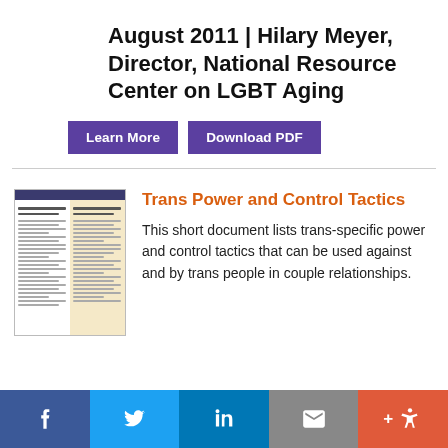August 2011 | Hilary Meyer, Director, National Resource Center on LGBT Aging
[Figure (other): Learn More button (purple)]
[Figure (other): Download PDF button (purple)]
[Figure (other): Thumbnail image of a document page with two-column layout, left white and right yellow/cream, with a dark header bar]
Trans Power and Control Tactics
This short document lists trans-specific power and control tactics that can be used against and by trans people in couple relationships.
[Figure (infographic): Social share footer bar with Facebook, Twitter, LinkedIn, Email, and accessibility icons]